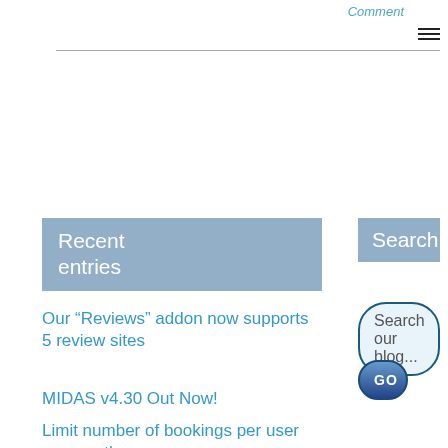Comment
Recent entries
Our “Reviews” addon now supports 5 review sites
MIDAS v4.30 Out Now!
Limit number of bookings per user per month or year
Two New Invoice Tools
Search
Search our blog...
GO